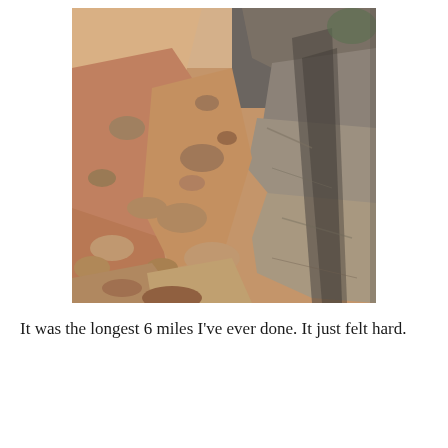[Figure (photo): A rocky hiking trail with red-brown sandy dirt and large granite boulders on the right side, and smaller scattered rocks on the left. The path winds upward with a steep rocky edge. Natural outdoor desert environment, sunny with shadows cast by rocks.]
It was the longest 6 miles I've ever done. It just felt hard.